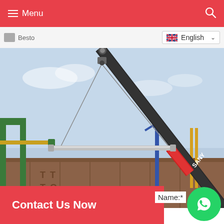Menu
English
[Figure (photo): A red mobile crane (SANY brand) with its boom extended diagonally, lifting a long horizontal beam with wire ropes. In the background are green gantry crane structures, a blue tower crane, shipping containers, and construction equipment against a hazy sky.]
Contact Us Now
Name:*
Beston Deli